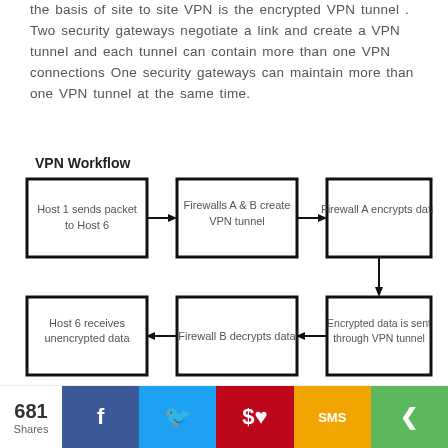the basis of site to site VPN is the encrypted VPN tunnel . Two security gateways negotiate a link and create a VPN tunnel and each tunnel can contain more than one VPN connections One security gateways can maintain more than one VPN tunnel at the same time.
[Figure (flowchart): VPN Workflow flowchart showing 5 steps: Host 1 sends packet to Host 6 → Firewalls A & B create VPN tunnel → Firewall A encrypts data → Encrypted data is sent through VPN tunnel → Firewall B decrypts data → Host 6 receives unencrypted data]
681 Shares — Facebook, Twitter, Pinterest, SMS, Share buttons